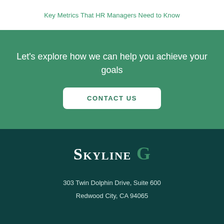Key Metrics That HR Managers Need to Know
Let's explore how we can help you achieve your goals
CONTACT US
[Figure (logo): Skyline G company logo in white and green text on dark teal background]
303 Twin Dolphin Drive, Suite 600
Redwood City, CA 94065